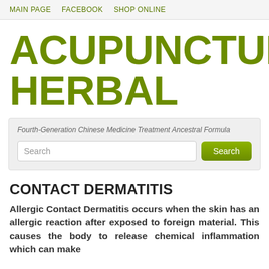MAIN PAGE   FACEBOOK   SHOP ONLINE
ACUPUNCTURE HERBAL
Fourth-Generation Chinese Medicine Treatment Ancestral Formula
CONTACT DERMATITIS
Allergic Contact Dermatitis occurs when the skin has an allergic reaction after exposed to foreign material. This causes the body to release chemical inflammation which can make